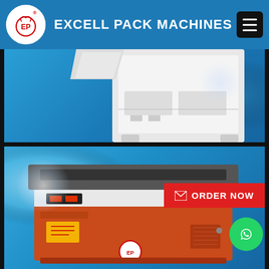EXCELL PACK MACHINES
[Figure (photo): Partial view of a white industrial packaging machine on a blue gradient background]
[Figure (photo): Orange and white strapping machine (box strapper) with dark top panel, EP logo, on blue gradient background. ORDER NOW red button and WhatsApp green button overlaid.]